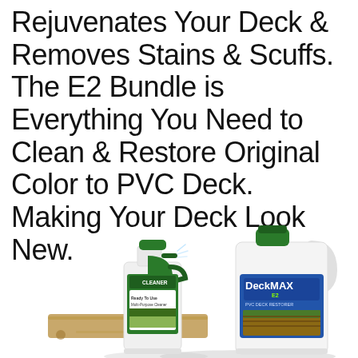Rejuvenates Your Deck & Removes Stains & Scuffs. The E2 Bundle is Everything You Need to Clean & Restore Original Color to PVC Deck. Making Your Deck Look New.
[Figure (photo): Product photo showing a spray bottle cleaner (Ready To Use Multi-Purpose Cleaner) and a large white jug labeled DeckMAX E2 PVC Deck Restorer, along with what appears to be a wooden board, all displayed on a white background.]